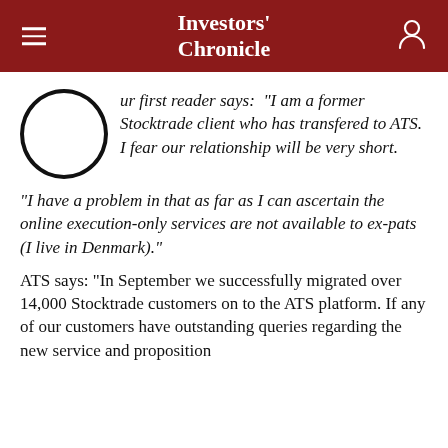Investors' Chronicle
Our first reader says: “I am a former Stocktrade client who has transfered to ATS. I fear our relationship will be very short.
"I have a problem in that as far as I can ascertain the online execution-only services are not available to ex-pats (I live in Denmark)."
ATS says: "In September we successfully migrated over 14,000 Stocktrade customers on to the ATS platform. If any of our customers have outstanding queries regarding the new service and proposition